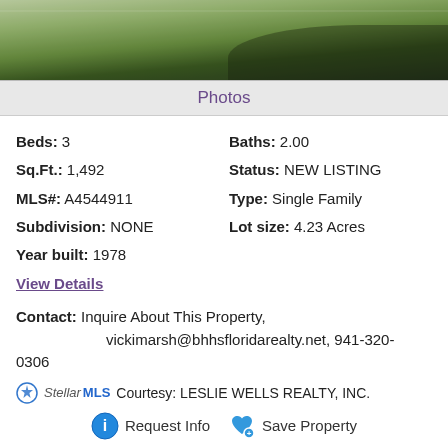[Figure (photo): Outdoor photo showing grass lawn with shadows, partial view from above]
Photos
Beds: 3   Baths: 2.00
Sq.Ft.: 1,492   Status: NEW LISTING
MLS#: A4544911   Type: Single Family
Subdivision: NONE   Lot size: 4.23 Acres
Year built: 1978
View Details
Contact: Inquire About This Property, vickimarsh@bhhsfloridarealty.net, 941-320-0306
StellarMLS Courtesy: LESLIE WELLS REALTY, INC.
Request Info   Save Property
View additional info
$799,000